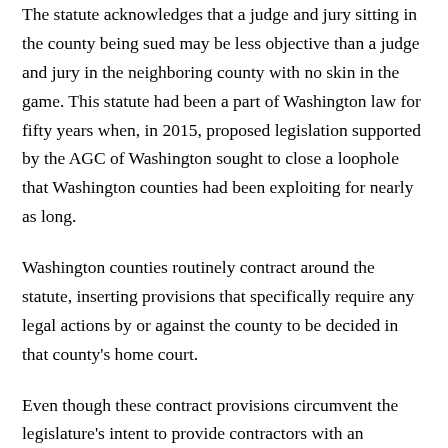The statute acknowledges that a judge and jury sitting in the county being sued may be less objective than a judge and jury in the neighboring county with no skin in the game. This statute had been a part of Washington law for fifty years when, in 2015, proposed legislation supported by the AGC of Washington sought to close a loophole that Washington counties had been exploiting for nearly as long.
Washington counties routinely contract around the statute, inserting provisions that specifically require any legal actions by or against the county to be decided in that county's home court.
Even though these contract provisions circumvent the legislature's intent to provide contractors with an impartial court to resolve their disputes with counties, the statute did not prohibit these one‑sided